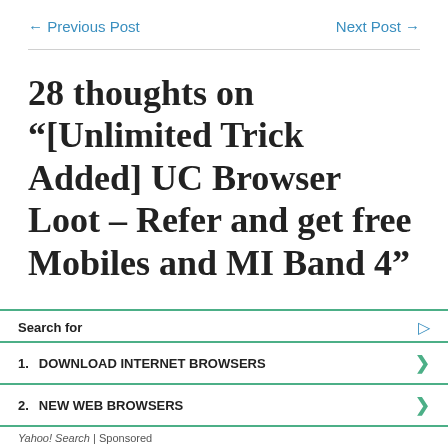← Previous Post    Next Post →
28 thoughts on “[Unlimited Trick Added] UC Browser Loot – Refer and get free Mobiles and MI Band 4”
[Figure (other): Advertisement box with Yahoo Search sponsored results. Search for label at top. Item 1: DOWNLOAD INTERNET BROWSERS. Item 2: NEW WEB BROWSERS. Footer: Yahoo! Search | Sponsored. Close button in red top-right corner.]